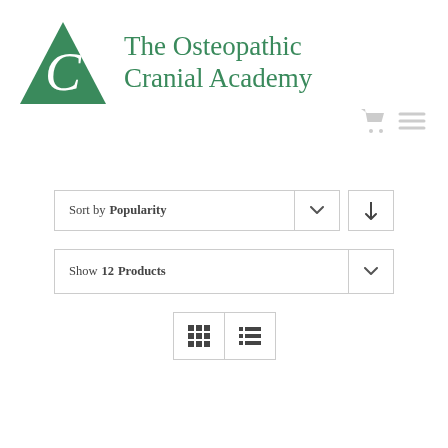[Figure (logo): The Osteopathic Cranial Academy logo: green triangle with white letter C inside, next to green serif text reading 'The Osteopathic Cranial Academy']
Sort by Popularity
Show 12 Products